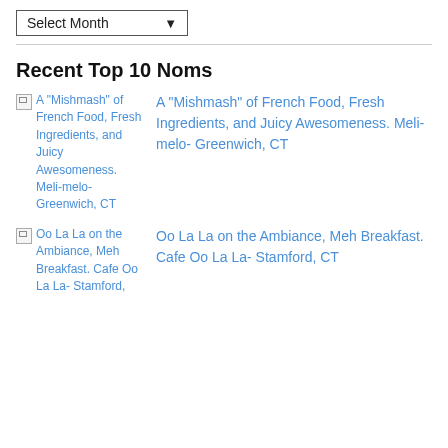Select Month
Recent Top 10 Noms
A "Mishmash" of French Food, Fresh Ingredients, and Juicy Awesomeness. Meli-melo- Greenwich, CT
Oo La La on the Ambiance, Meh Breakfast. Cafe Oo La La- Stamford, CT